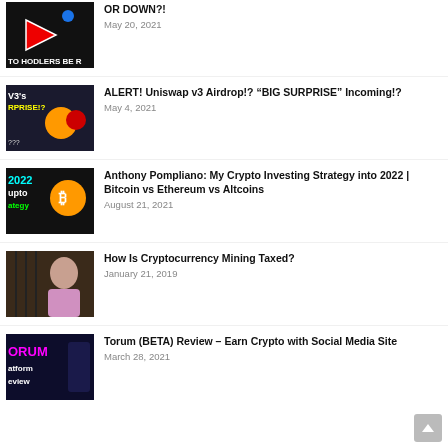[Figure (screenshot): Thumbnail with red arrow and text 'TO HODLERS BE R']
OR DOWN?!
May 20, 2021
[Figure (screenshot): Thumbnail with V3's RPRISE!? text and crypto logos]
ALERT! Uniswap v3 Airdrop!? “BIG SURPRISE” Incoming!?
May 4, 2021
[Figure (screenshot): Thumbnail with 2022, Bitcoin logo, crypto strategy text]
Anthony Pompliano: My Crypto Investing Strategy into 2022 | Bitcoin vs Ethereum vs Altcoins
August 21, 2021
[Figure (photo): Man in pink shirt on dark background]
How Is Cryptocurrency Mining Taxed?
January 21, 2019
[Figure (screenshot): Thumbnail with ORUM platform review text on dark background]
Torum (BETA) Review – Earn Crypto with Social Media Site
March 28, 2021